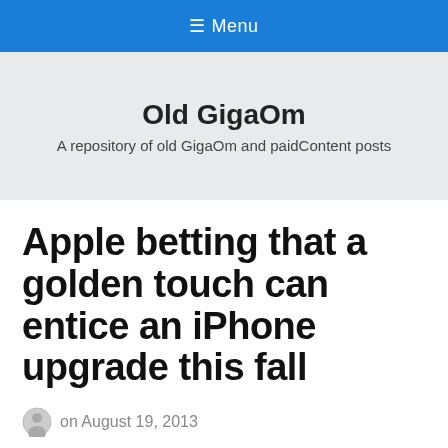≡ Menu
Old GigaOm
A repository of old GigaOm and paidContent posts
Apple betting that a golden touch can entice an iPhone upgrade this fall
on August 19, 2013
Choosing an iPhone is usually a simple decision between